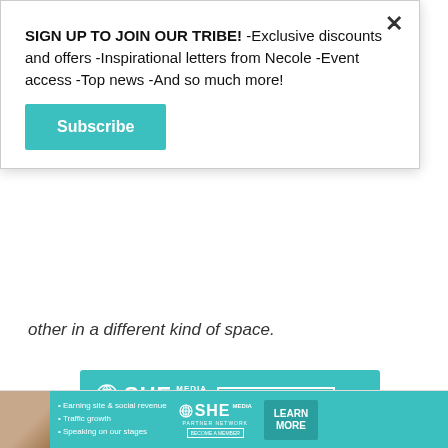SIGN UP TO JOIN OUR TRIBE! -Exclusive discounts and offers -Inspirational letters from Necole -Event access -Top news -And so much more!
[Figure (other): Teal Subscribe button]
other in a different kind of space.
[Figure (infographic): SHE Media Partner Network ad. Become a Member. Features: Earning site & social revenue, Traffic growth, Speaking on our stages.]
[Figure (infographic): Bottom banner ad for SHE Media Partner Network: Earning site & social revenue, Traffic growth, Speaking on our stages. Learn More button.]